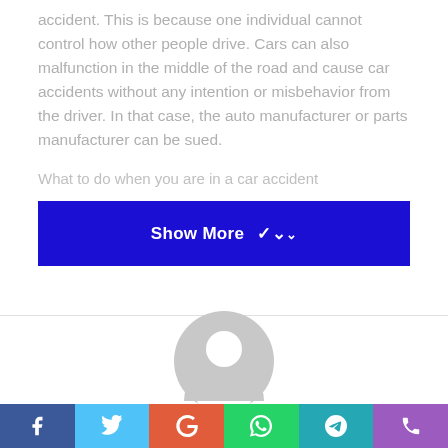accident. This is because one individual cannot control how other people drive. Cars can also malfunction in the middle of the road and cause car accidents without any intention or misbehavior from the driver. In that case, the auto manufacturer or parts manufacturer can be sued.
What to do when you are in a car accident
[Figure (other): Blue 'Show More' button with chevron down arrow]
[Figure (illustration): Generic grey user avatar/profile placeholder icon]
[Figure (other): Social share bar with Facebook, Twitter, Google, WhatsApp, Telegram, and phone/RSS icons]